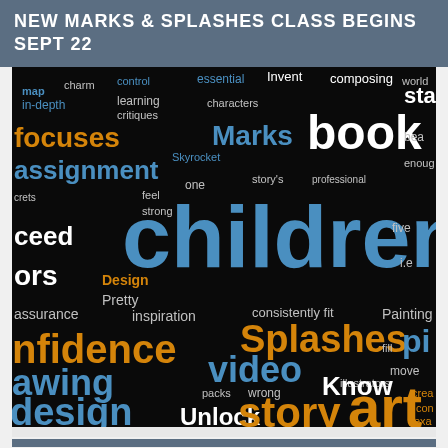NEW MARKS & SPLASHES CLASS BEGINS SEPT 22
[Figure (illustration): Word cloud on black background featuring words related to a children's book illustration course: Children's, Marks, book, Splashes, art, story, confidence, design, video, course, drawing, dummy/proposal, illustrators, Painting, look, Unlock, Draw, Know, and many more in various colors (white, blue, orange, gold) and sizes.]